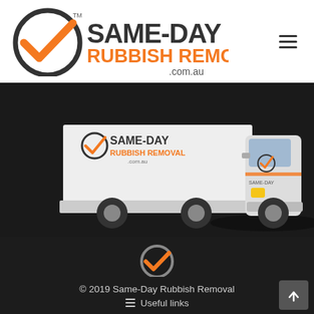[Figure (logo): Same-Day Rubbish Removal logo with orange checkmark circle and dark text, .com.au domain]
[Figure (photo): White Same-Day Rubbish Removal branded truck on dark background, side and front view visible]
[Figure (logo): Small Same-Day Rubbish Removal checkmark logo in orange and grey, footer version]
© 2019 Same-Day Rubbish Removal
≡ Useful links